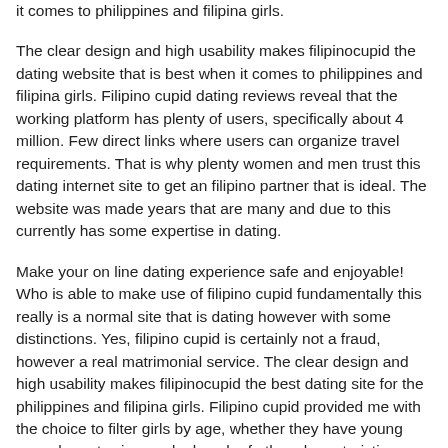it comes to philippines and filipina girls.
The clear design and high usability makes filipinocupid the dating website that is best when it comes to philippines and filipina girls. Filipino cupid dating reviews reveal that the working platform has plenty of users, specifically about 4 million. Few direct links where users can organize travel requirements. That is why plenty women and men trust this dating internet site to get an filipino partner that is ideal. The website was made years that are many and due to this currently has some expertise in dating.
Make your on line dating experience safe and enjoyable! Who is able to make use of filipino cupid fundamentally this really is a normal site that is dating however with some distinctions. Yes, filipino cupid is certainly not a fraud, however a real matrimonial service. The clear design and high usability makes filipinocupid the best dating site for the philippines and filipina girls. Filipino cupid provided me with the choice to filter girls by age, whether they have young ones, breasts size, and a bunch of other characteristics.
Top 3 keywords witch people utilized in se to locate filipinocupid are filipina heart, filipina, filipina cupid. Overview filipinocupid is